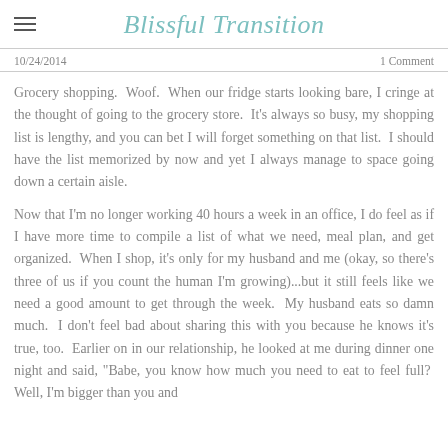Blissful Transition
10/24/2014    1 Comment
Grocery shopping.  Woof.  When our fridge starts looking bare, I cringe at the thought of going to the grocery store.  It's always so busy, my shopping list is lengthy, and you can bet I will forget something on that list.  I should have the list memorized by now and yet I always manage to space going down a certain aisle.
Now that I'm no longer working 40 hours a week in an office, I do feel as if I have more time to compile a list of what we need, meal plan, and get organized.  When I shop, it's only for my husband and me (okay, so there's three of us if you count the human I'm growing)...but it still feels like we need a good amount to get through the week.  My husband eats so damn much.  I don't feel bad about sharing this with you because he knows it's true, too.  Earlier on in our relationship, he looked at me during dinner one night and said, "Babe, you know how much you need to eat to feel full?  Well, I'm bigger than you and